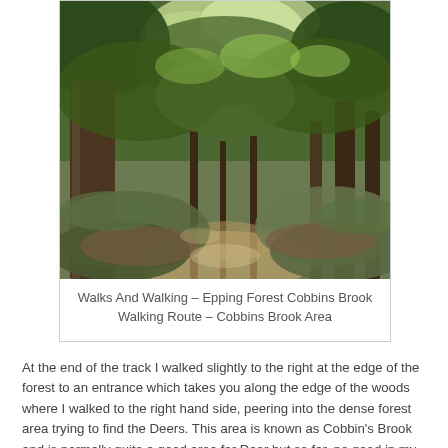[Figure (photo): A forest path through Epping Forest Cobbins Brook area, showing tall trees with green canopy overhead, dappled sunlight on a grassy forest floor covered with fallen leaves and low undergrowth.]
Walks And Walking – Epping Forest Cobbins Brook Walking Route – Cobbins Brook Area
At the end of the track I walked slightly to the right at the edge of the forest to an entrance which takes you along the edge of the woods where I walked to the right hand side, peering into the dense forest area trying to find the Deers. This area is known as Cobbin's Brook and is normally quite a good area for Deer but so far, no good in my quest to find them. As I exited the